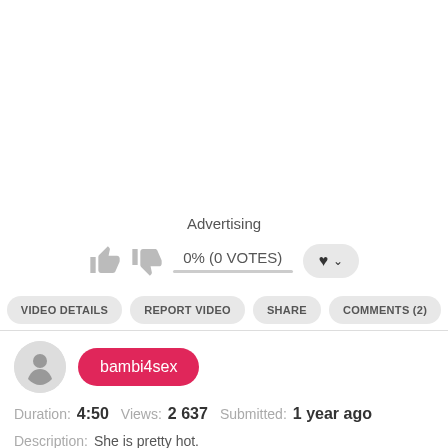Advertising
0% (0 VOTES)
VIDEO DETAILS   REPORT VIDEO   SHARE   COMMENTS (2)
bambi4sex
Duration: 4:50   Views: 2 637   Submitted: 1 year ago
Description: She is pretty hot.
Categories: Webcam   Amateur   Anal